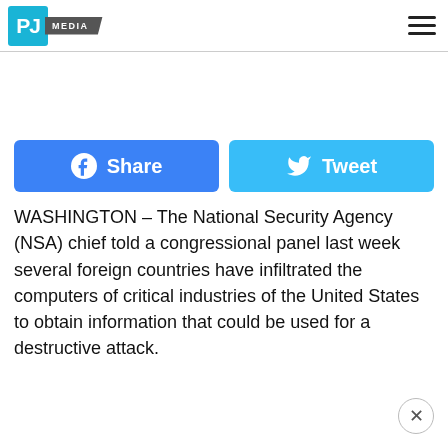PJ MEDIA
[Figure (infographic): Facebook Share button (blue) and Twitter Tweet button (light blue) side by side]
WASHINGTON – The National Security Agency (NSA) chief told a congressional panel last week several foreign countries have infiltrated the computers of critical industries of the United States to obtain information that could be used for a destructive attack.